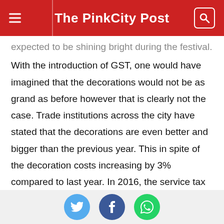The PinkCity Post
expected to be shining bright during the festival. With the introduction of GST, one would have imagined that the decorations would not be as grand as before however that is clearly not the case. Trade institutions across the city have stated that the decorations are even better and bigger than the previous year. This in spite of the decoration costs increasing by 3% compared to last year. In 2016, the service tax charged on the total bill was 15% which has now become 18%. This has clearly impacted